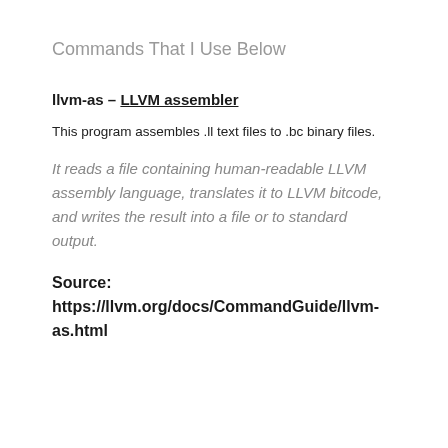Commands That I Use Below
llvm-as – LLVM assembler
This program assembles .ll text files to .bc binary files.
It reads a file containing human-readable LLVM assembly language, translates it to LLVM bitcode, and writes the result into a file or to standard output.
Source: https://llvm.org/docs/CommandGuide/llvm-as.html